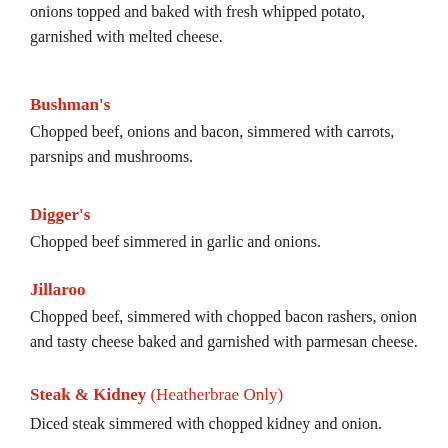onions topped and baked with fresh whipped potato, garnished with melted cheese.
Bushman's
Chopped beef, onions and bacon, simmered with carrots, parsnips and mushrooms.
Digger's
Chopped beef simmered in garlic and onions.
Jillaroo
Chopped beef, simmered with chopped bacon rashers, onion and tasty cheese baked and garnished with parmesan cheese.
Steak & Kidney (Heatherbrae Only)
Diced steak simmered with chopped kidney and onion.